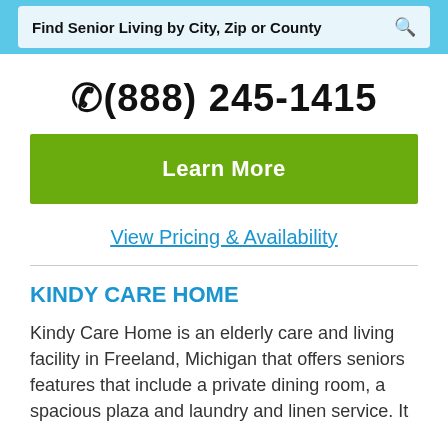Find Senior Living by City, Zip or County
(888) 245-1415
Learn More
View Pricing & Availability
KINDY CARE HOME
Kindy Care Home is an elderly care and living facility in Freeland, Michigan that offers seniors features that include a private dining room, a spacious plaza and laundry and linen service. It